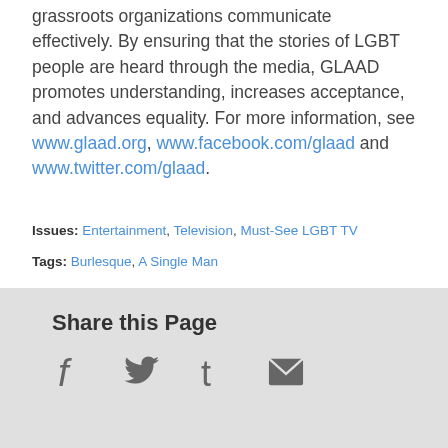grassroots organizations communicate effectively. By ensuring that the stories of LGBT people are heard through the media, GLAAD promotes understanding, increases acceptance, and advances equality. For more information, see www.glaad.org, www.facebook.com/glaad and www.twitter.com/glaad.
Issues: Entertainment, Television, Must-See LGBT TV
Tags: Burlesque, A Single Man
Share this Page